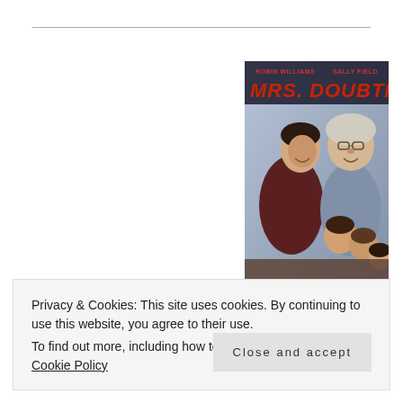[Figure (photo): Movie poster for Mrs. Doubtfire featuring Robin Williams and Sally Field. The poster shows two people peering around a wall — a woman on the left and an elderly woman (in disguise) on the right, with three children below. The title 'MRS. DOUBTFIRE' is displayed in large red letters at the top, with 'ROBIN WILLIAMS' and 'SALLY FIELD' credited above.]
Privacy & Cookies: This site uses cookies. By continuing to use this website, you agree to their use.
To find out more, including how to control cookies, see here: Cookie Policy
Close and accept